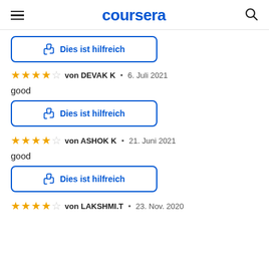coursera
[Figure (other): Thumbs up button labeled 'Dies ist hilfreich' (partially visible at top)]
☆☆☆☆☆ von DEVAK K • 6. Juli 2021
good
[Figure (other): Thumbs up button labeled 'Dies ist hilfreich']
☆☆☆☆☆ von ASHOK K • 21. Juni 2021
good
[Figure (other): Thumbs up button labeled 'Dies ist hilfreich']
☆☆☆☆☆ von LAKSHMI.T • 23. Nov. 2020